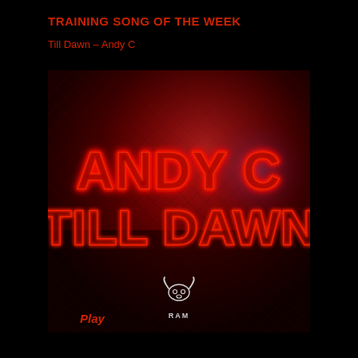TRAINING SONG OF THE WEEK
Till Dawn – Andy C
[Figure (illustration): Album art for Andy C – Till Dawn. Dark red background with diamond/chain-link fence pattern. Large neon red outlined text reads 'ANDY C' on the top line and 'TILL DAWN' on the bottom line in retro neon lettering. RAM Records logo (bull skull icon) centered at the bottom.]
Play